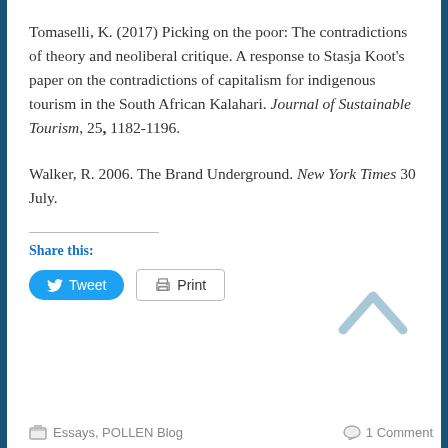Tomaselli, K. (2017) Picking on the poor: The contradictions of theory and neoliberal critique. A response to Stasja Koot's paper on the contradictions of capitalism for indigenous tourism in the South African Kalahari. Journal of Sustainable Tourism, 25, 1182-1196.
Walker, R. 2006. The Brand Underground. New York Times 30 July.
Share this:
Tweet
Print
[Figure (other): Up chevron/caret navigation icon in light blue/gray]
Essays, POLLEN Blog   1 Comment